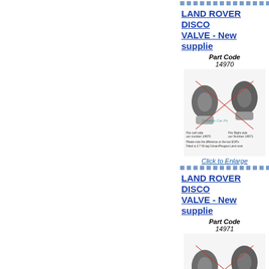LAND ROVER DISCO... VALVE - New supplie...
[Figure (photo): Part Code 14970 - EGR valve photo showing left and right side, with notes about fitting]
Click to Enlarge
LAND ROVER DISCO... VALVE - New supplie...
[Figure (photo): Part Code 14971 - EGR valve photo showing left and right side, with notes about fitting]
Click to Enlarge
LAND ROVER FREE...